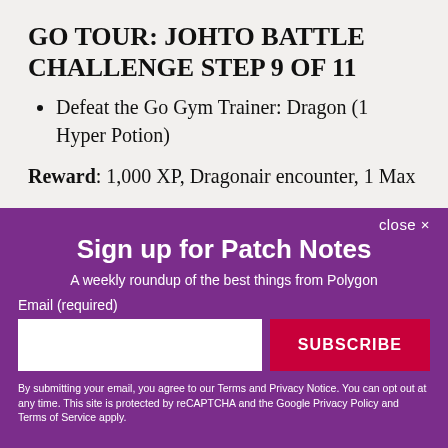GO TOUR: JOHTO BATTLE CHALLENGE STEP 9 OF 11
Defeat the Go Gym Trainer: Dragon (1 Hyper Potion)
Reward: 1,000 XP, Dragonair encounter, 1 Max
close ✕
Sign up for Patch Notes
A weekly roundup of the best things from Polygon
Email (required)
SUBSCRIBE
By submitting your email, you agree to our Terms and Privacy Notice. You can opt out at any time. This site is protected by reCAPTCHA and the Google Privacy Policy and Terms of Service apply.